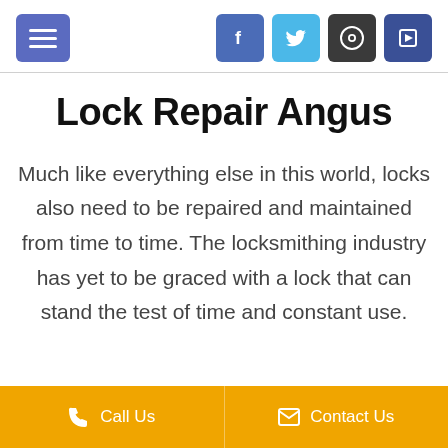Menu | Facebook | Twitter | GitHub | Bitbucket
Lock Repair Angus
Much like everything else in this world, locks also need to be repaired and maintained from time to time. The locksmithing industry has yet to be graced with a lock that can stand the test of time and constant use.
Call Us | Contact Us